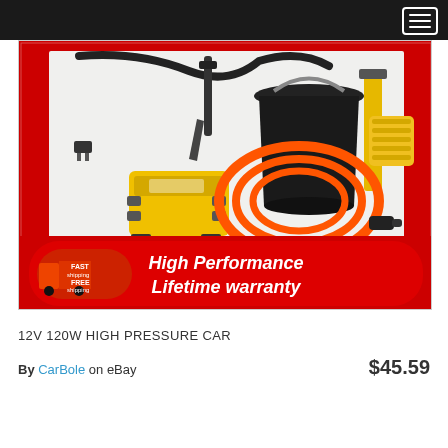[Figure (photo): Product listing image showing a 12V 120W high pressure car washer kit with yellow pump, orange hose, black bucket, squeegee, sponge, and spray gun on red background. Red banner at bottom reads 'High Performance Lifetime warranty' with a delivery truck icon showing 'FAST shipping FREE shipping'.]
12V 120W HIGH PRESSURE CAR
By CarBole on eBay  $45.59